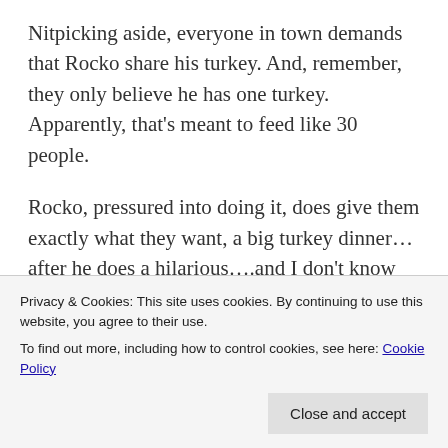Nitpicking aside, everyone in town demands that Rocko share his turkey. And, remember, they only believe he has one turkey. Apparently, that's meant to feed like 30 people.
Rocko, pressured into doing it, does give them exactly what they want, a big turkey dinner…after he does a hilarious….and I don't know how I can say this without it
Privacy & Cookies: This site uses cookies. By continuing to use this website, you agree to their use.
To find out more, including how to control cookies, see here: Cookie Policy
Close and accept
getting in or out of a turkey costume….
They even set up the living room like a